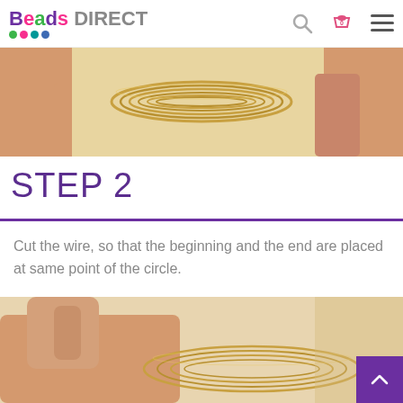Beads DIRECT
[Figure (photo): Close-up photo of coiled gold/metallic memory wire showing multiple loops, with hands visible at the edges]
STEP 2
Cut the wire, so that the beginning and the end are placed at same point of the circle.
[Figure (photo): Hand holding and cutting coiled gold metallic memory wire, showing the circular wire loops]